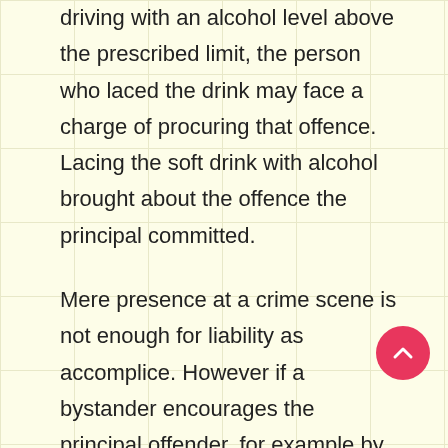driving with an alcohol level above the prescribed limit, the person who laced the drink may face a charge of procuring that offence. Lacing the soft drink with alcohol brought about the offence the principal committed.
Mere presence at a crime scene is not enough for liability as accomplice. However if a bystander encourages the principal offender, for example by shouting out to a person who is attacking another person “Hit him again” or “Kick him”, the bystander is no longer simply a bystander but is encouraging the attacker.